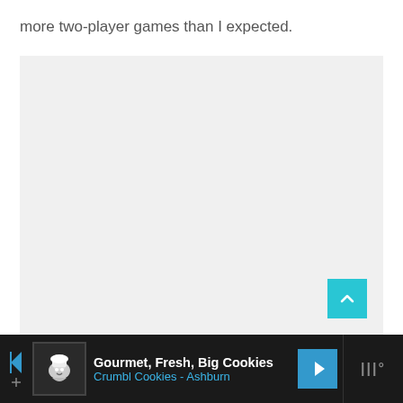more two-player games than I expected.
[Figure (other): Large light gray empty content area with a teal/cyan scroll-to-top button in the bottom right corner]
[Figure (other): Advertisement banner with dark background showing Crumbl Cookies ad: 'Gourmet, Fresh, Big Cookies' and 'Crumbl Cookies - Ashburn' with a cookie mascot logo icon and blue navigation arrow icon, plus a muted right-side block with triple-bar icon]